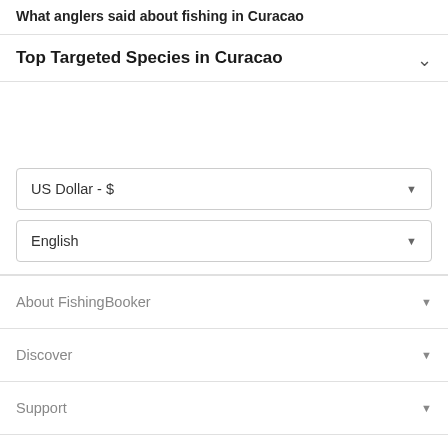What anglers said about fishing in Curacao
Top Targeted Species in Curacao
US Dollar - $
English
About FishingBooker
Discover
Support